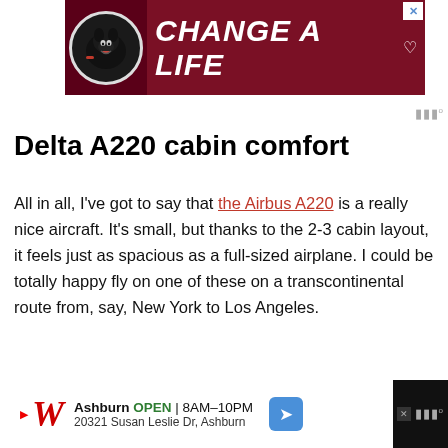[Figure (other): Advertisement banner: dark red/maroon background with a black dog image on left and bold white italic text 'CHANGE A LIFE' with a heart icon on right. Close button (X) in top right corner.]
Delta A220 cabin comfort
All in all, I've got to say that the Airbus A220 is a really nice aircraft. It's small, but thanks to the 2-3 cabin layout, it feels just as spacious as a full-sized airplane. I could be totally happy fly on one of these on a transcontinental route from, say, New York to Los Angeles.
[Figure (other): Advertisement bar at bottom: Walgreens ad showing store info 'Ashburn OPEN 8AM-10PM, 20321 Susan Leslie Dr, Ashburn' with a blue navigation arrow icon.]